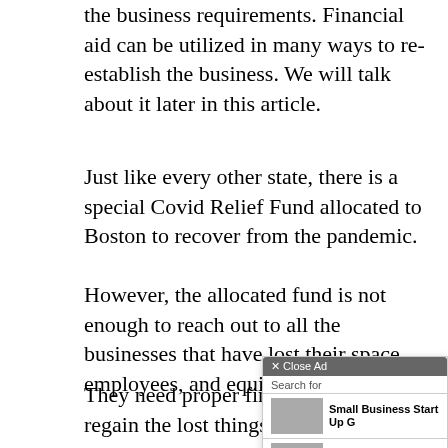the business requirements. Financial aid can be utilized in many ways to re-establish the business. We will talk about it later in this article.
Just like every other state, there is a special Covid Relief Fund allocated to Boston to recover from the pandemic.
However, the allocated fund is not enough to reach out to all the businesses that have lost their space, employees, and equipment.
They need proper financial support to regain the lost things
[Figure (screenshot): An advertisement overlay showing 'X Close Ad' button, a search box with 'Search for', two ad items: 'Small Business Start Up G' and 'Minority Business Grants', each with a photo thumbnail, and a footer with 'Ad | Business Focus'.]